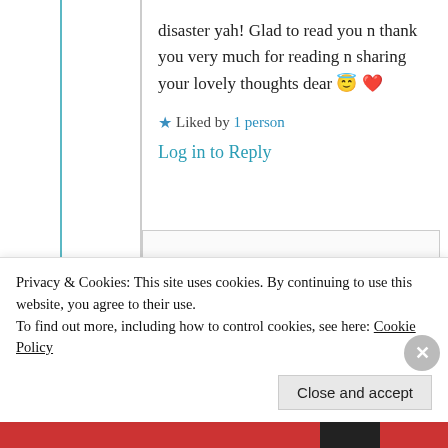disaster yah! Glad to read you n thank you very much for reading n sharing your lovely thoughts dear 😇 ❤️
Liked by 1 person
Log in to Reply
samsahana
9th Jul 2021 at 1:11
Privacy & Cookies: This site uses cookies. By continuing to use this website, you agree to their use. To find out more, including how to control cookies, see here: Cookie Policy
Close and accept